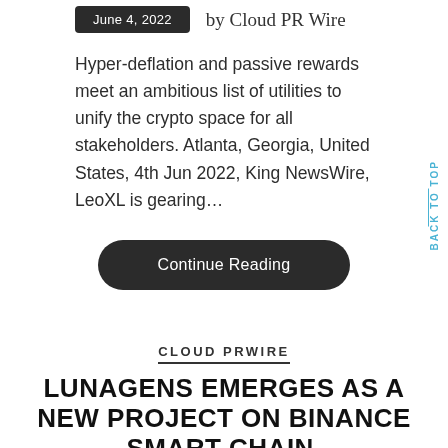June 4, 2022 by Cloud PR Wire
Hyper-deflation and passive rewards meet an ambitious list of utilities to unify the crypto space for all stakeholders. Atlanta, Georgia, United States, 4th Jun 2022, King NewsWire, LeoXL is gearing…
Continue Reading
CLOUD PRWIRE
LUNAGENS EMERGES AS A NEW PROJECT ON BINANCE SMART CHAIN.
June 4, 2022 by Cloud PR Wire